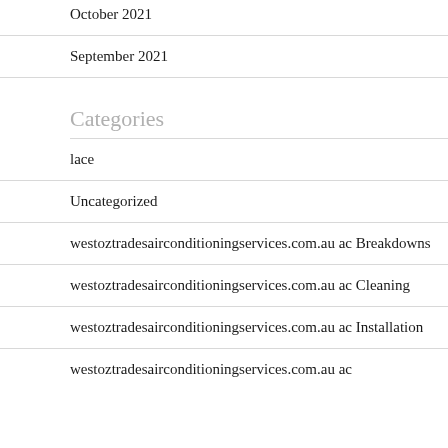October 2021
September 2021
Categories
lace
Uncategorized
westoztradesairconditioningservices.com.au ac Breakdowns
westoztradesairconditioningservices.com.au ac Cleaning
westoztradesairconditioningservices.com.au ac Installation
westoztradesairconditioningservices.com.au ac